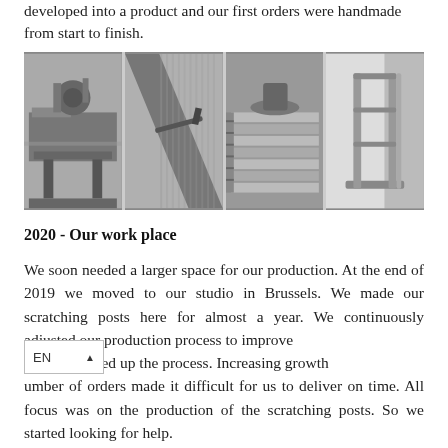developed into a product and our first orders were handmade from start to finish.
[Figure (photo): Four black-and-white workshop photos showing: a CNC/sawing machine with a person operating it, a close-up of a textured material surface with a tool, stacked aluminium extrusion profiles, and a finished metal scratching post frame.]
2020 - Our work place
We soon needed a larger space for our production. At the end of 2019 we moved to our studio in Brussels. We made our scratching posts here for almost a year. We continuously adjusted our production process to improve duct and speed up the process. Increasing growth umber of orders made it difficult for us to deliver on time. All focus was on the production of the scratching posts. So we started looking for help.